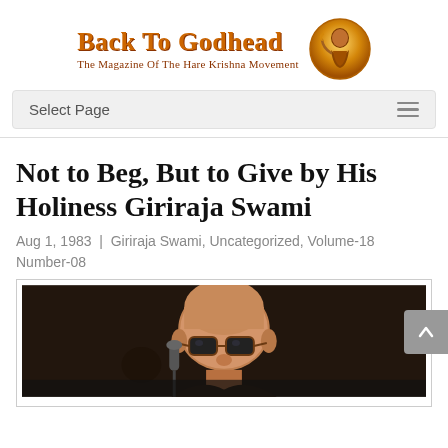[Figure (logo): Back To Godhead magazine logo with golden circular emblem containing a figure, bold orange-brown title text and subtitle 'The Magazine Of The Hare Krishna Movement']
Select Page
Not to Beg, But to Give by His Holiness Giriraja Swami
Aug 1, 1983 | Giriraja Swami, Uncategorized, Volume-18 Number-08
[Figure (photo): Black and white photo of His Holiness Giriraja Swami speaking at a microphone, wearing glasses, bald head, dark background]